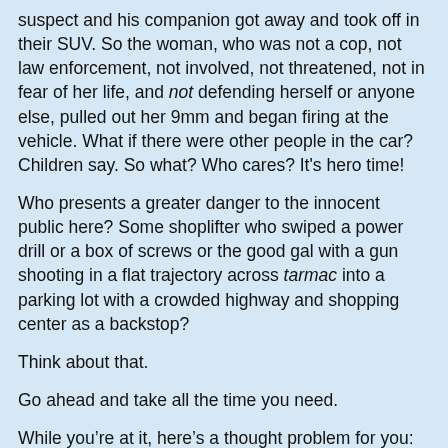suspect and his companion got away and took off in their SUV. So the woman, who was not a cop, not law enforcement, not involved, not threatened, not in fear of her life, and not defending herself or anyone else, pulled out her 9mm and began firing at the vehicle. What if there were other people in the car? Children say. So what? Who cares? It's hero time!
Who presents a greater danger to the innocent public here? Some shoplifter who swiped a power drill or a box of screws or the good gal with a gun shooting in a flat trajectory across tarmac into a parking lot with a crowded highway and shopping center as a backstop?
Think about that.
Go ahead and take all the time you need.
While you’re at it, here’s a thought problem for you:
Michigan is a Stand Your Ground state. Since the alleged shoplifter wasn't actually threatening this woman. And since she, as an uninvolved third